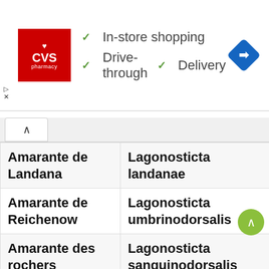[Figure (screenshot): CVS Pharmacy advertisement banner showing logo, checkmarks for In-store shopping, Drive-through, and Delivery services, and a blue navigation diamond icon]
| Common Name | Scientific Name | English Name (truncated) |
| --- | --- | --- |
| Amarante de Landana | Lagonosticta landanae | Lan... Fire... |
| Amarante de Reichenow | Lagonosticta umbrinodorsalis | Cha... Fire... |
| Amarante des rochers | Lagonosticta sanguinodorsalis | Roc... Fire... |
| Amarante du Sénégal | Lagonosticta senegala | Re... Fire... |